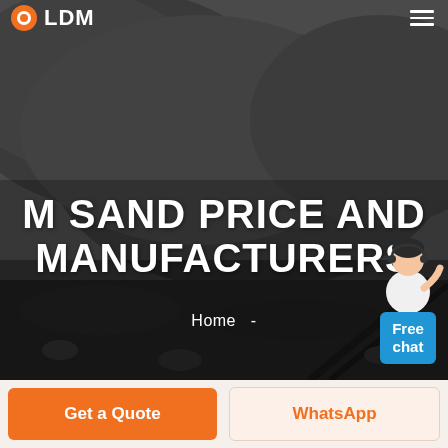LDM
[Figure (photo): Dark quarry/mining site with large piles of crushed rock and sand, heavy machinery visible in the background, grayscale/dark toned image]
[Figure (illustration): Free chat widget with a customer service person illustration and a blue button labeled 'Free chat']
M SAND PRICE AND MANUFACTURERS
Home -
Get a Quote
WhatsApp